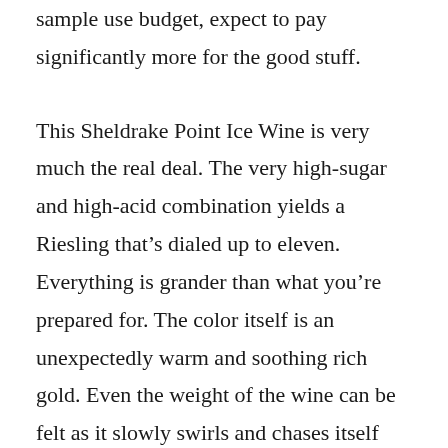sample use budget, expect to pay significantly more for the good stuff.
This Sheldrake Point Ice Wine is very much the real deal. The very high-sugar and high-acid combination yields a Riesling that’s dialed up to eleven. Everything is grander than what you’re prepared for. The color itself is an unexpectedly warm and soothing rich gold. Even the weight of the wine can be felt as it slowly swirls and chases itself around the glass.
The intoxicating nose brings to mind a thousand